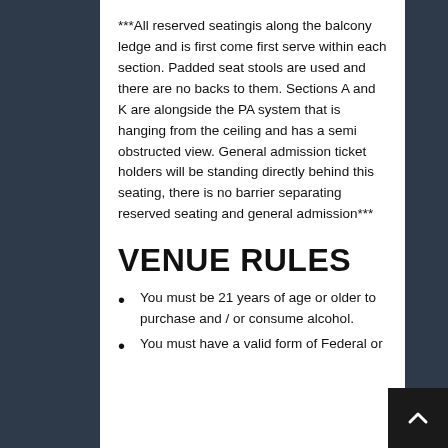***All reserved seatingis along the balcony ledge and is first come first serve within each section. Padded seat stools are used and there are no backs to them. Sections A and K are alongside the PA system that is hanging from the ceiling and has a semi obstructed view. General admission ticket holders will be standing directly behind this seating, there is no barrier separating reserved seating and general admission***
VENUE RULES
You must be 21 years of age or older to purchase and / or consume alcohol.
You must have a valid form of Federal or